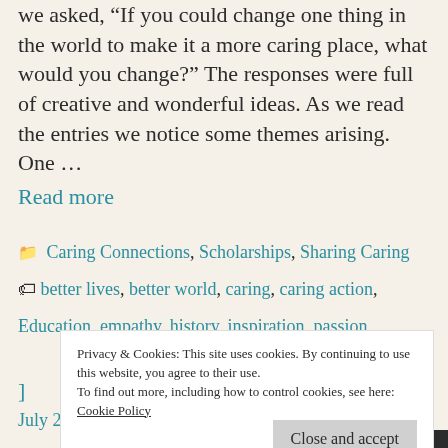we asked, “If you could change one thing in the world to make it a more caring place, what would you change?” The responses were full of creative and wonderful ideas. As we read the entries we notice some themes arising. One …
Read more
📁 Caring Connections, Scholarships, Sharing Caring
🏷️ better lives, better world, caring, caring action, Education, empathy, history, inspiration, passion,
Privacy & Cookies: This site uses cookies. By continuing to use this website, you agree to their use. To find out more, including how to control cookies, see here: Cookie Policy
Close and accept
July 26, 2019 by CareTeam